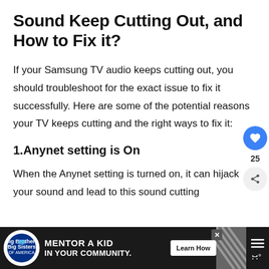Sound Keep Cutting Out, and How to Fix it?
If your Samsung TV audio keeps cutting out, you should troubleshoot for the exact issue to fix it successfully. Here are some of the potential reasons your TV keeps cutting and the right ways to fix it:
1.Anynet setting is On
When the Anynet setting is turned on, it can hijack your sound and lead to this sound cutting out whether it's
[Figure (infographic): Advertisement banner at the bottom: Big Brothers Big Sisters logo, 'MENTOR A KID IN YOUR COMMUNITY.' with 'Learn How' button, diagonal pattern graphic, and menu icon]